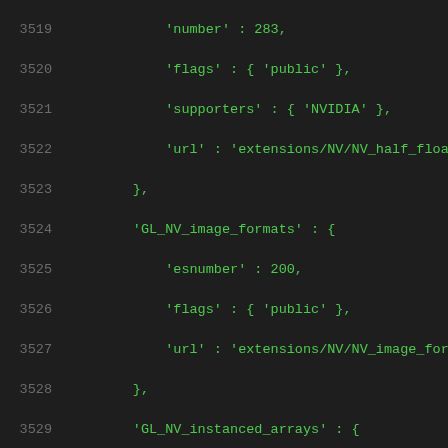Code listing lines 3519-3539 showing GL extension data structures in a dictionary/map format with keys: number, flags, supporters, url for GL_NV_half_float; esnumber, flags, url for GL_NV_image_formats; esnumber, flags, url for GL_NV_instanced_arrays; number, esnumber, flags, url for GL_NV_internalformat_sample_query